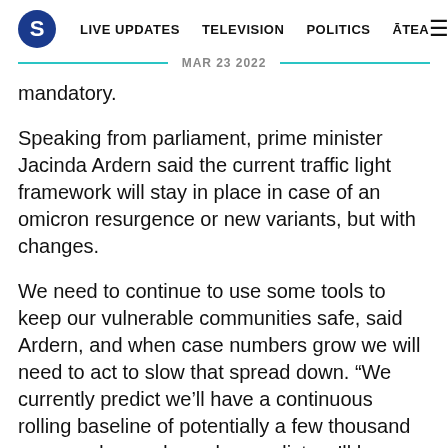S  LIVE UPDATES  TELEVISION  POLITICS  ĀTEA  ☰
MAR 23 2022
mandatory.
Speaking from parliament, prime minister Jacinda Ardern said the current traffic light framework will stay in place in case of an omicron resurgence or new variants, but with changes.
We need to continue to use some tools to keep our vulnerable communities safe, said Ardern, and when case numbers grow we will need to act to slow that spread down. “We currently predict we’ll have a continuous rolling baseline of potentially a few thousand cases a day, and we also predict we’ll have occasional spikes,” she said.
Mask wearing, at red, will remain in place – but